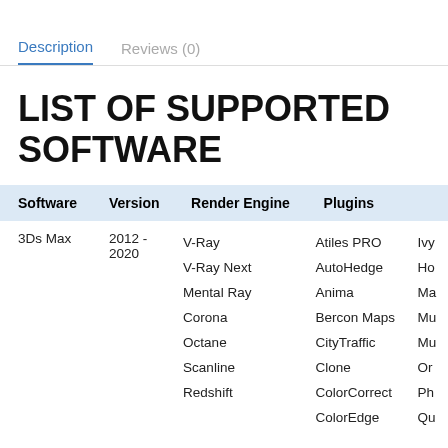Description	Reviews (0)
LIST OF SUPPORTED SOFTWARE
| Software | Version | Render Engine | Plugins |  |
| --- | --- | --- | --- | --- |
| 3Ds Max | 2012 - 2020 | V-Ray
V-Ray Next
Mental Ray
Corona
Octane
Scanline
Redshift | Atiles PRO
AutoHedge
Anima
Bercon Maps
CityTraffic
Clone
ColorCorrect
ColorEdge | Ivy
Ho
Ma
Mu
Mu
Or
Ph
Qu |